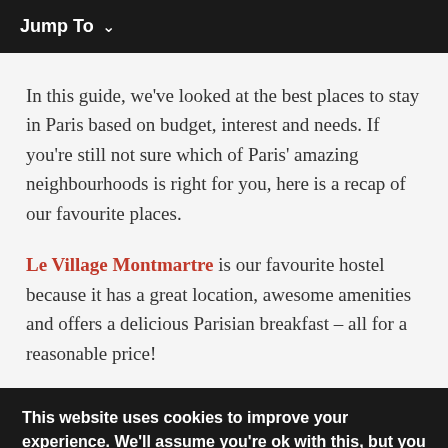Jump To ∨
In this guide, we've looked at the best places to stay in Paris based on budget, interest and needs. If you're still not sure which of Paris' amazing neighbourhoods is right for you, here is a recap of our favourite places.
Le Village Montmartre is our favourite hostel because it has a great location, awesome amenities and offers a delicious Parisian breakfast – all for a reasonable price!
This website uses cookies to improve your experience. We'll assume you're ok with this, but you can opt-out if you wish. More information. Close